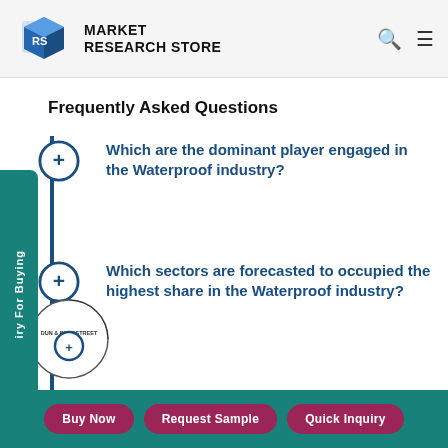Market Research Store
Frequently Asked Questions
Which are the dominant player engaged in the Waterproof industry?
Which sectors are forecasted to occupied the highest share in the Waterproof industry?
Buy Now | Request Sample | Quick Inquiry